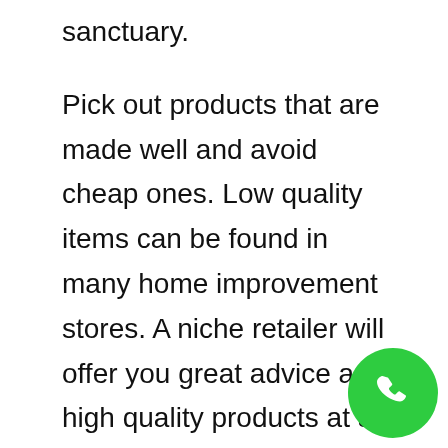sanctuary.
Pick out products that are made well and avoid cheap ones. Low quality items can be found in many home improvement stores. A niche retailer will offer you great advice and high quality products at a reasonable price. It's worth it to pay slightly more for the products and help, since you will get exactly what you need for success.
Landscaping is a lot more than just planting grass and trees. You can create texturized substance in your landscape by incorporating man-made cement, iro… wood structures. Use decks, archways and pergol… create attractive looks that are complex, beautiful and
[Figure (illustration): Green circular phone call button icon in bottom right corner]